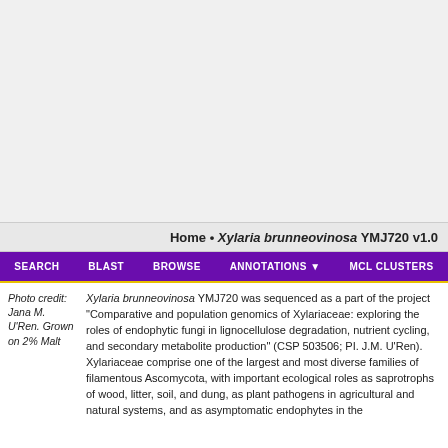[Figure (photo): White/blank image area at top of page, likely a photo placeholder for Xylaria brunneovinosa fungus specimen]
Home • Xylaria brunneovinosa YMJ720 v1.0
SEARCH   BLAST   BROWSE   ANNOTATIONS ▼   MCL CLUSTERS
Photo credit: Jana M. U'Ren. Grown on 2% Malt
Xylaria brunneovinosa YMJ720 was sequenced as a part of the project "Comparative and population genomics of Xylariaceae: exploring the roles of endophytic fungi in lignocellulose degradation, nutrient cycling, and secondary metabolite production" (CSP 503506; PI. J.M. U'Ren). Xylariaceae comprise one of the largest and most diverse families of filamentous Ascomycota, with important ecological roles as saprotrophs of wood, litter, soil, and dung, as plant pathogens in agricultural and natural systems, and as asymptomatic endophytes in the